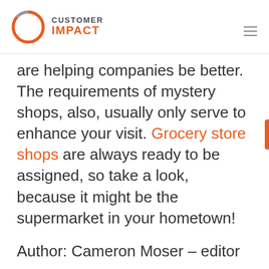Customer Impact
are helping companies be better. The requirements of mystery shops, also, usually only serve to enhance your visit. Grocery store shops are always ready to be assigned, so take a look, because it might be the supermarket in your hometown!
Author: Cameron Moser – editor